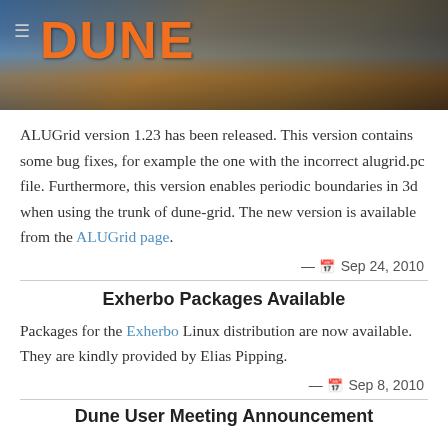DUNE
ALUGrid version 1.23 has been released. This version contains some bug fixes, for example the one with the incorrect alugrid.pc file. Furthermore, this version enables periodic boundaries in 3d when using the trunk of dune-grid. The new version is available from the ALUGrid page.
— Sep 24, 2010
Exherbo Packages Available
Packages for the Exherbo Linux distribution are now available. They are kindly provided by Elias Pipping.
— Sep 8, 2010
Dune User Meeting Announcement